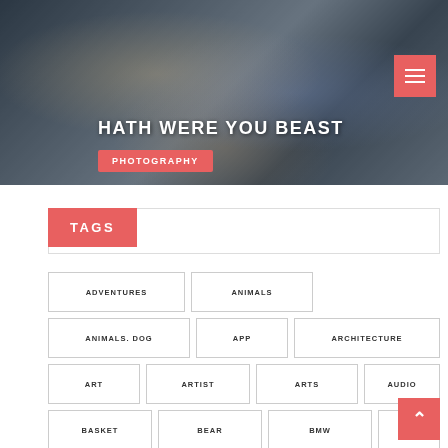[Figure (photo): Basketball game action photo with players competing]
HATH WERE YOU BEAST
PHOTOGRAPHY
TAGS
ADVENTURES
ANIMALS
ANIMALS. DOG
APP
ARCHITECTURE
ART
ARTIST
ARTS
AUDIO
BASKET
BEAR
BMW
BOB
BOX
BRUSH
BUSINESS
CARS